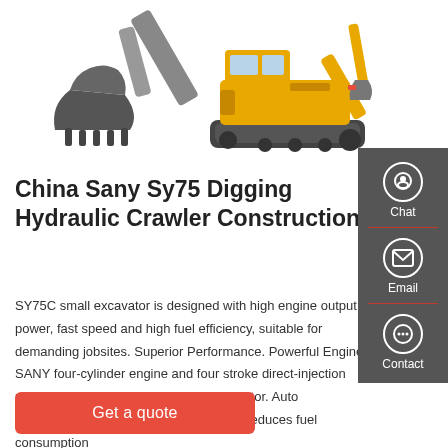[Figure (photo): Two yellow Sany excavators shown side by side: left shows bucket/arm detail, right shows full crawler crawler construction machine on white background]
China Sany Sy75 Digging Hydraulic Crawler Construction
SY75C small excavator is designed with high engine output power, fast speed and high fuel efficiency, suitable for demanding jobsites. Superior Performance. Powerful Engine. SANY four-cylinder engine and four stroke direct-injection provides a stronger power for the excavator. Auto Deceleration System. Auto deceleration reduces fuel consumption
Get a quote